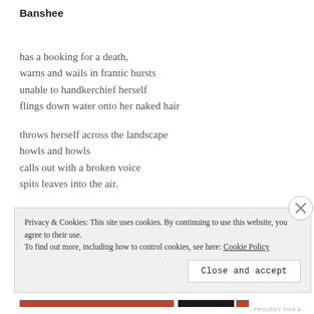Banshee
has a booking for a death,
warns and wails in frantic bursts
unable to handkerchief herself
flings down water onto her naked hair
throws herself across the landscape
howls and howls
calls out with a broken voice
spits leaves into the air.
Privacy & Cookies: This site uses cookies. By continuing to use this website, you agree to their use.
To find out more, including how to control cookies, see here: Cookie Policy
Close and accept